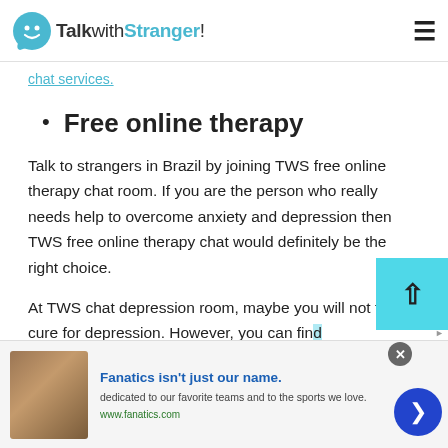TalkwithStranger!
chat services.
Free online therapy
Talk to strangers in Brazil by joining TWS free online therapy chat room. If you are the person who really needs help to overcome anxiety and depression then TWS free online therapy chat would definitely be the right choice.
At TWS chat depression room, maybe you will not find a cure for depression. However, you can fin... thousands of friends who are ready to listen to yo...
[Figure (screenshot): Fanatics advertisement banner at the bottom of the page showing sports memorabilia image, ad title 'Fanatics isn’t just our name.', description text, and www.fanatics.com URL]